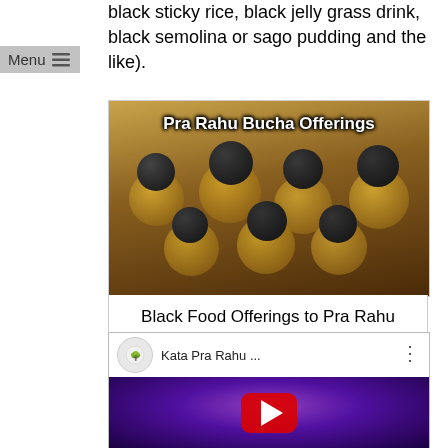black sticky rice, black jelly grass drink, black semolina or sago pudding and the like).
[Figure (photo): Photo of black food offerings (dark round fruits/balls on gold pedestal bowls) arranged on a table, with text overlay 'Pra Rahu Bucha Offerings']
Black Food Offerings to Pra Rahu
[Figure (screenshot): YouTube video embed showing 'Kata Pra Rahu ...' with a purple/mystical background thumbnail and a red play button]